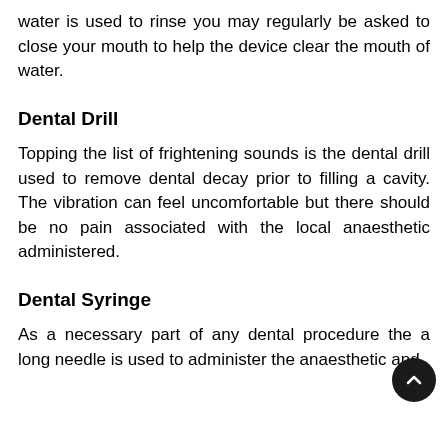water is used to rinse you may regularly be asked to close your mouth to help the device clear the mouth of water.
Dental Drill
Topping the list of frightening sounds is the dental drill used to remove dental decay prior to filling a cavity. The vibration can feel uncomfortable but there should be no pain associated with the local anaesthetic administered.
Dental Syringe
As a necessary part of any dental procedure the a long needle is used to administer the anaesthetic and